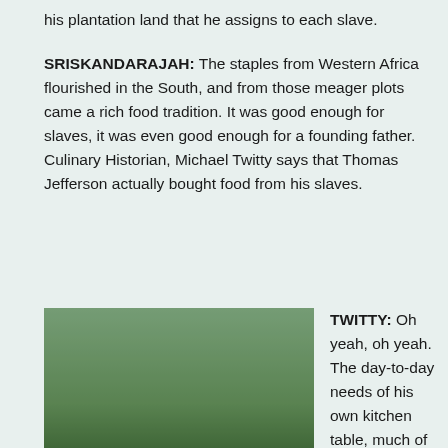his plantation land that he assigns to each slave.
SRISKANDARAJAH: The staples from Western Africa flourished in the South, and from those meager plots came a rich food tradition. It was good enough for slaves, it was even good enough for a founding father. Culinary Historian, Michael Twitty says that Thomas Jefferson actually bought food from his slaves.
[Figure (photo): Michael Twitty standing outdoors holding a yellow vegetable, with trees and grass in the background.]
Michael Twitty curated the African American Heritage Seed Collection.
TWITTY: Oh yeah, oh yeah. The day-to-day needs of his own kitchen table, much of that was supplied by the enslaved